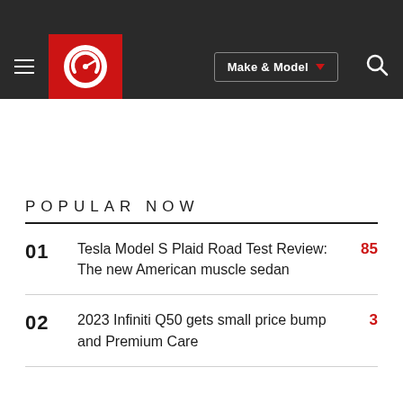[Figure (logo): Car and Driver website logo - red background with white speedometer/gauge icon]
POPULAR NOW
01  Tesla Model S Plaid Road Test Review: The new American muscle sedan  85
02  2023 Infiniti Q50 gets small price bump and Premium Care  3